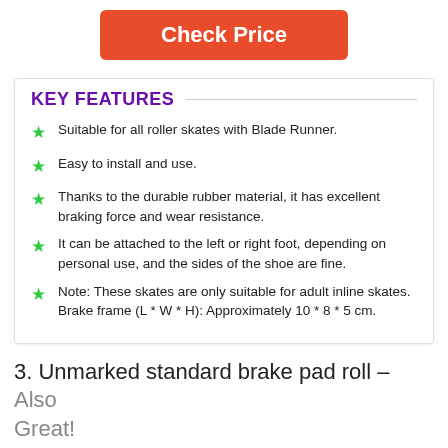[Figure (other): Orange/red rounded rectangle button with white text 'Check Price']
KEY FEATURES
Suitable for all roller skates with Blade Runner.
Easy to install and use.
Thanks to the durable rubber material, it has excellent braking force and wear resistance.
It can be attached to the left or right foot, depending on personal use, and the sides of the shoe are fine.
Note: These skates are only suitable for adult inline skates. Brake frame (L * W * H): Approximately 10 * 8 * 5 cm.
3. Unmarked standard brake pad roll – Also Great!